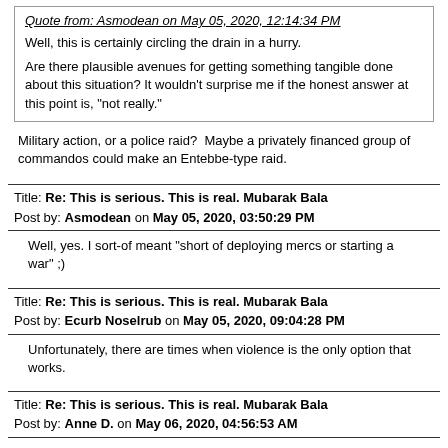Quote from: Asmodean on May 05, 2020, 12:14:34 PM
Well, this is certainly circling the drain in a hurry.
Are there plausible avenues for getting something tangible done about this situation? It wouldn't surprise me if the honest answer at this point is, "not really."
Military action, or a police raid?  Maybe a privately financed group of commandos could make an Entebbe-type raid.
Title: Re: This is serious. This is real. Mubarak Bala
Post by: Asmodean on May 05, 2020, 03:50:29 PM
Well, yes. I sort-of meant "short of deploying mercs or starting a war" ;)
Title: Re: This is serious. This is real. Mubarak Bala
Post by: Ecurb Noselrub on May 05, 2020, 09:04:28 PM
Unfortunately, there are times when violence is the only option that works.
Title: Re: This is serious. This is real. Mubarak Bala
Post by: Anne D. on May 06, 2020, 04:56:53 AM